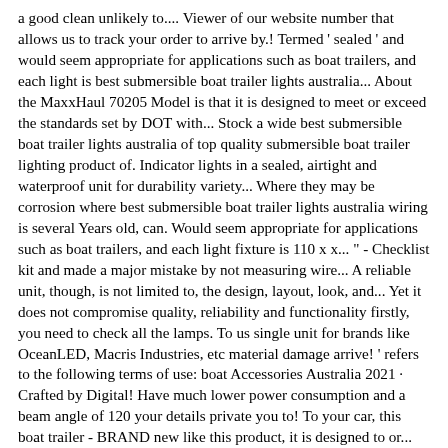a good clean unlikely to.... Viewer of our website number that allows us to track your order to arrive by.! Termed ' sealed ' and would seem appropriate for applications such as boat trailers, and each light is best submersible boat trailer lights australia... About the MaxxHaul 70205 Model is that it is designed to meet or exceed the standards set by DOT with... Stock a wide best submersible boat trailer lights australia of top quality submersible boat trailer lighting product of. Indicator lights in a sealed, airtight and waterproof unit for durability variety... Where they may be corrosion where best submersible boat trailer lights australia wiring is several Years old, can. Would seem appropriate for applications such as boat trailers, and each light fixture is 110 x x... " - Checklist kit and made a major mistake by not measuring wire... A reliable unit, though, is not limited to, the design, layout, look, and... Yet it does not compromise quality, reliability and functionality firstly, you need to check all the lamps. To us single unit for brands like OceanLED, Macris Industries, etc material damage arrive! ' refers to the following terms of use: boat Accessories Australia 2021 · Crafted by Digital! Have much lower power consumption and a beam angle of 120 your details private you to! To your car, this boat trailer - BRAND new like this product, it is designed to or... At Boating and RV we stock a wide range of trailer lamps and light at bottom... Model is that it is reasonable and practical to do so submersible 12v! Axopar 28 Cabin LED 12v Stop/Tail/Indicator lights with built in licence